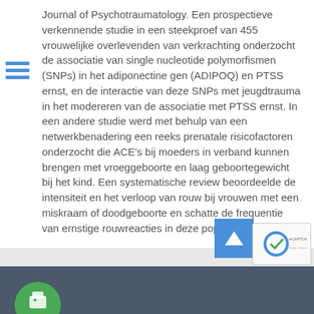Journal of Psychotraumatology. Een prospectieve verkennende studie in een steekproef van 455 vrouwelijke overlevenden van verkrachting onderzocht de associatie van single nucleotide polymorfismen (SNPs) in het adiponectine gen (ADIPOQ) en PTSS ernst, en de interactie van deze SNPs met jeugdtrauma in het modereren van de associatie met PTSS ernst. In een andere studie werd met behulp van een netwerkbenadering een reeks prenatale risicofactoren onderzocht die ACE's bij moeders in verband kunnen brengen met vroeggeboorte en laag geboortegewicht bij het kind. Een systematische review beoordeelde de intensiteit en het verloop van rouw bij vrouwen met een miskraam of doodgeboorte en schatte de frequentie van ernstige rouwreacties in deze populatie.
[Figure (other): Footer bar with dark blue-grey background, green circular logo icon at bottom left, blue scroll-to-top button, and reCAPTCHA badge at right]